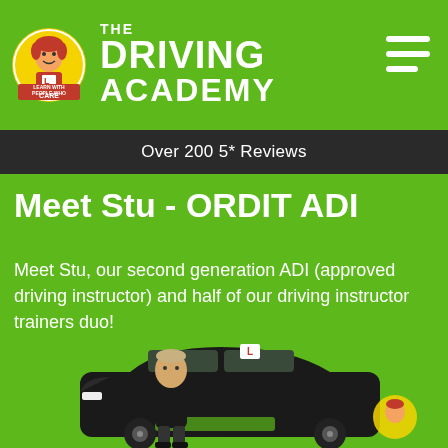[Figure (logo): The Driving Academy logo with circular character mascot and brand name]
Over 200 5* Reviews
Meet Stu - ORDIT ADI
Meet Stu, our second generation ADI (approved driving instructor) and half of our driving instructor trainers duo!
[Figure (photo): Man in black standing in front of a branded Driving Academy car on green background]